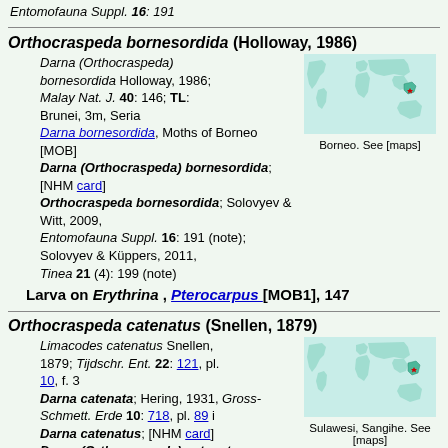Entomofauna Suppl. 16: 191
Orthocraspeda bornesordida (Holloway, 1986)
Darna (Orthocraspeda) bornesordida Holloway, 1986; Malay Nat. J. 40: 146; TL: Brunei, 3m, Seria
Darna bornesordida, Moths of Borneo [MOB]
Darna (Orthocraspeda) bornesordida; [NHM card]
Orthocraspeda bornesordida; Solovyev & Witt, 2009, Entomofauna Suppl. 16: 191 (note); Solovyev & Küppers, 2011, Tinea 21 (4): 199 (note)
[Figure (map): World map showing distribution in Borneo region]
Borneo. See [maps]
Larva on Erythrina , Pterocarpus [MOB1], 147
Orthocraspeda catenatus (Snellen, 1879)
Limacodes catenatus Snellen, 1879; Tijdschr. Ent. 22: 121, pl. 10, f. 3
Darna catenata; Hering, 1931, Gross-Schmett. Erde 10: 718, pl. 89 i
Darna catenatus; [NHM card]
Darna (Orthocraspeda) catenatus; [MOB1], 141 (list); Holloway, Cock & Desmier de Chenon, 1987, Slug & Nettle Caterpillars: 99
[Figure (map): World map showing distribution in Sulawesi and Sangihe region]
Sulawesi, Sangihe. See [maps]